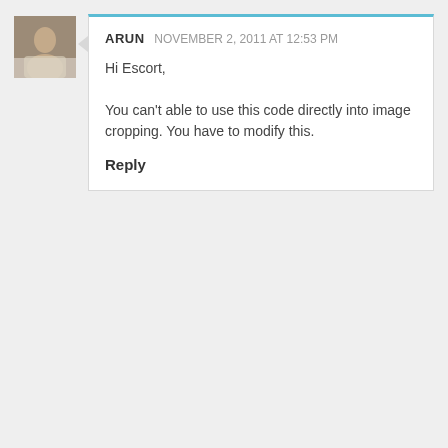[Figure (photo): Small square avatar photo of a man in a light-colored shirt]
ARUN  NOVEMBER 2, 2011 AT 12:53 PM
Hi Escort,

You can't able to use this code directly into image cropping. You have to modify this.
Reply